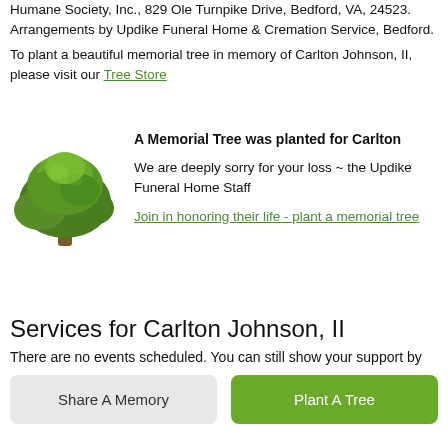Humane Society, Inc., 829 Ole Turnpike Drive, Bedford, VA, 24523. Arrangements by Updike Funeral Home & Cremation Service, Bedford.
To plant a beautiful memorial tree in memory of Carlton Johnson, II, please visit our Tree Store
[Figure (illustration): Green deciduous tree illustration used as memorial tree graphic]
A Memorial Tree was planted for Carlton
We are deeply sorry for your loss ~ the Updike Funeral Home Staff
Join in honoring their life - plant a memorial tree
Services for Carlton Johnson, II
There are no events scheduled. You can still show your support by
Share A Memory
Plant A Tree